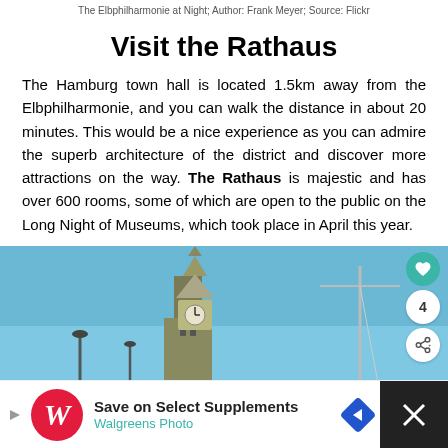The Elbphilharmonie at Night; Author: Frank Meyer; Source: Flickr
Visit the Rathaus
The Hamburg town hall is located 1.5km away from the Elbphilharmonie, and you can walk the distance in about 20 minutes. This would be a nice experience as you can admire the superb architecture of the district and discover more attractions on the way. The Rathaus is majestic and has over 600 rooms, some of which are open to the public on the Long Night of Museums, which took place in April this year.
[Figure (photo): Photo of the Rathaus (Hamburg town hall) tower/spire against a blue sky, with cranes visible in background. Social interaction buttons (heart, count 4, share) overlay the top-right corner.]
[Figure (infographic): Advertisement bar: Walgreens Photo - Save on Select Supplements, with Walgreens logo, navigation arrow icon, and a dark close/video panel on the right.]